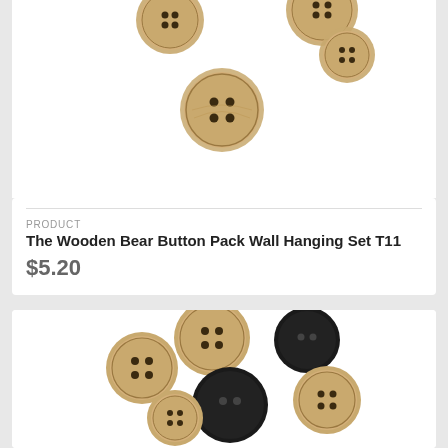[Figure (photo): Wooden buttons scattered on white background, partial view, top card]
PRODUCT
The Wooden Bear Button Pack Wall Hanging Set T11
$5.20
[Figure (photo): Mixed wooden and black buttons scattered on white background, bottom card]